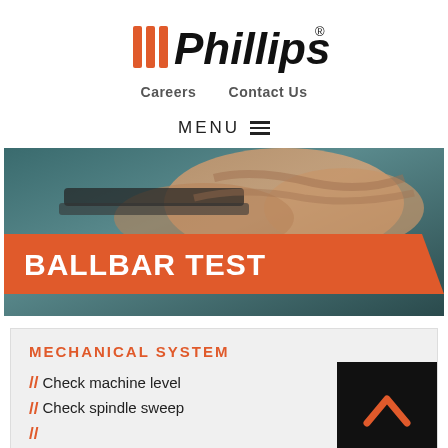[Figure (logo): Phillips logo with orange triple-stripe accent and bold black 'Phillips' text with registered trademark symbol]
Careers   Contact Us
MENU ≡
[Figure (photo): Close-up photo of hands working on a mechanical component, with teal/dark background]
BALLBAR TEST
MECHANICAL SYSTEM
// Check machine level
// Check spindle sweep
[Figure (other): Black button with orange upward chevron/caret arrow icon]